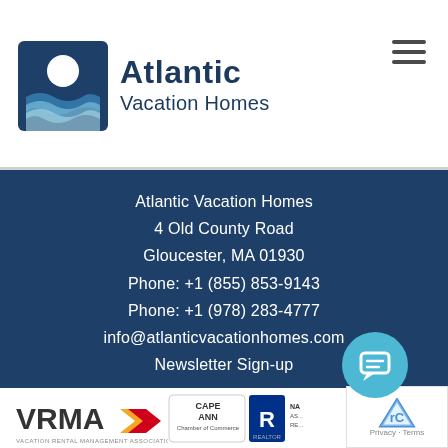[Figure (logo): Atlantic Vacation Homes logo with icon showing sun and waves, and text 'Atlantic Vacation Homes' in navy blue]
Atlantic Vacation Homes
4 Old County Road
Gloucester, MA 01930
Phone: +1 (855) 853-9143
Phone: +1 (978) 283-4777
info@atlanticvacationhomes.com
Newsletter Sign-up
Proud members of
[Figure (logo): VRMA Vacation Rental Management Association logo, Cape Ann Chamber of Commerce logo, Realtor logo with partial National Association of Realtors text, chat bubble widget, reCAPTCHA widget]